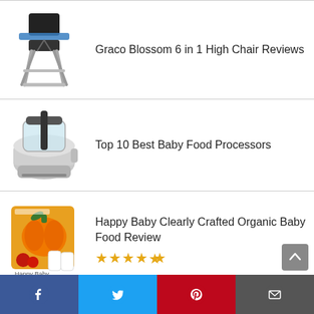[Figure (photo): Graco Blossom 6 in 1 High Chair product image — modern high chair with gray frame and tray]
Graco Blossom 6 in 1 High Chair Reviews
[Figure (photo): Baby food processor — silver/chrome blender/food processor close-up]
Top 10 Best Baby Food Processors
[Figure (photo): Happy Baby Clearly Crafted Organic Baby Food product box with orange/pumpkin imagery]
Happy Baby Clearly Crafted Organic Baby Food Review
★★★★½
Facebook | Twitter | Pinterest | Email